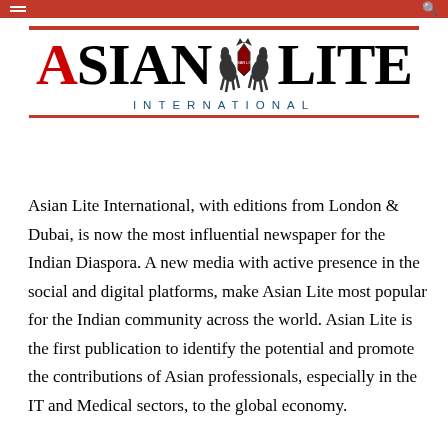Asian Lite International — navigation bar
[Figure (logo): Asian Lite International newspaper logo with red and black typography and central emblem of two horses, with 'INTERNATIONAL' subtitle in spaced blue capitals]
Asian Lite International, with editions from London & Dubai, is now the most influential newspaper for the Indian Diaspora. A new media with active presence in the social and digital platforms, make Asian Lite most popular for the Indian community across the world. Asian Lite is the first publication to identify the potential and promote the contributions of Asian professionals, especially in the IT and Medical sectors, to the global economy.